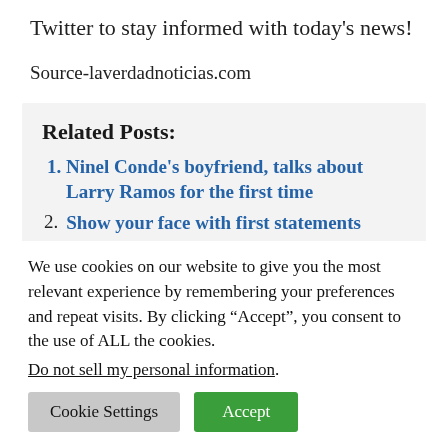Twitter to stay informed with today's news!
Source-laverdadnoticias.com
Related Posts:
Ninel Conde's boyfriend, talks about Larry Ramos for the first time
Show your face with first statements
We use cookies on our website to give you the most relevant experience by remembering your preferences and repeat visits. By clicking “Accept”, you consent to the use of ALL the cookies.
Do not sell my personal information.